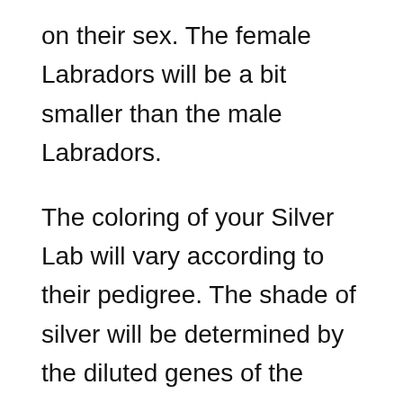on their sex. The female Labradors will be a bit smaller than the male Labradors.
The coloring of your Silver Lab will vary according to their pedigree. The shade of silver will be determined by the diluted genes of the black and chocolate-colored Labradors. If your Labrador has received the diluted genes of a Chocolate Lab, then it will have a reddish silver double coat. On the other hand, if your Labrador is a diluted version of the Black Labrador, then it will have a double coat of dark silver Colour. You can also call it a